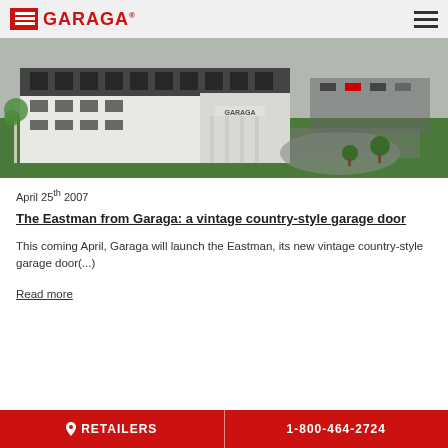GARAGA
[Figure (photo): Aerial/elevated view of a large white commercial building (Garaga headquarters) with green lawn, parking lot with trees, and circular driveway. The building has multiple stories with dark windows and a 'GARAGA' sign visible.]
April 25th 2007
The Eastman from Garaga: a vintage country-style garage door
This coming April, Garaga will launch the Eastman, its new vintage country-style garage door(...)
Read more
RETAILERS   1-800-464-2724